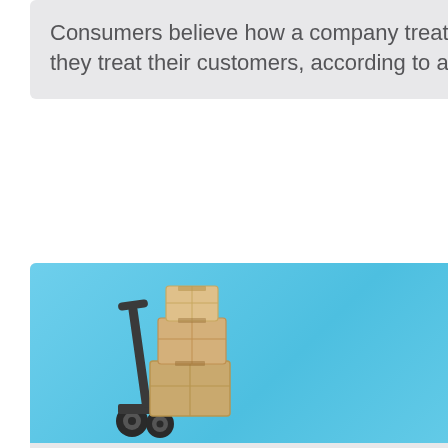Consumers believe how a company treats their data reflects how they treat their customers, according to a new survey.
[Figure (photo): A hand truck / dolly with stacked cardboard boxes on a light blue background]
ECOMMERCE
Online shoppers leaving cart because of high shipping costs - report